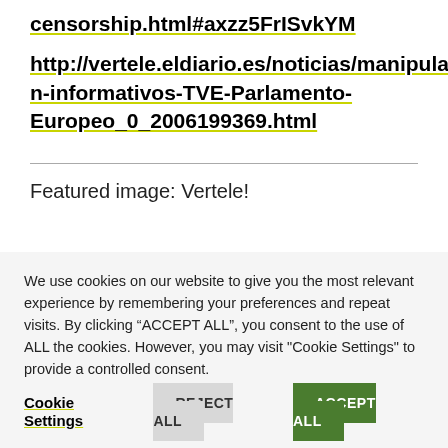censorship.html#axzz5FrISvkYM
http://vertele.eldiario.es/noticias/manipulacion-informativos-TVE-Parlamento-Europeo_0_2006199369.html
Featured image: Vertele!
We use cookies on our website to give you the most relevant experience by remembering your preferences and repeat visits. By clicking “ACCEPT ALL”, you consent to the use of ALL the cookies. However, you may visit "Cookie Settings" to provide a controlled consent.